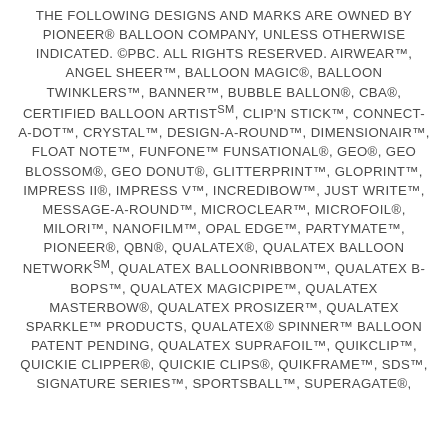THE FOLLOWING DESIGNS AND MARKS ARE OWNED BY PIONEER® BALLOON COMPANY, UNLESS OTHERWISE INDICATED. ©PBC. ALL RIGHTS RESERVED. AIRWEAR™, ANGEL SHEER™, BALLOON MAGIC®, BALLOON TWINKLERS™, BANNER™, BUBBLE BALLON®, CBA®, CERTIFIED BALLOON ARTISTSM, CLIP'N STICK™, CONNECT-A-DOT™, CRYSTAL™, DESIGN-A-ROUND™, DIMENSIONAIR™, FLOAT NOTE™, FUNFONE™ FUNSATIONAL®, GEO®, GEO BLOSSOM®, GEO DONUT®, GLITTERPRINT™, GLOPRINT™, IMPRESS II®, IMPRESS V™, INCREDIBOW™, JUST WRITE™, MESSAGE-A-ROUND™, MICROCLEAR™, MICROFOIL®, MILORI™, NANOFILM™, OPAL EDGE™, PARTYMATE™, PIONEER®, QBN®, QUALATEX®, QUALATEX BALLOON NETWORKSM, QUALATEX BALLOONRIBBON™, QUALATEX B-BOPS™, QUALATEX MAGICPIPE™, QUALATEX MASTERBOW®, QUALATEX PROSIZER™, QUALATEX SPARKLE™ PRODUCTS, QUALATEX® SPINNER™ BALLOON PATENT PENDING, QUALATEX SUPRAFOIL™, QUIKCLIP™, QUICKIE CLIPPER®, QUICKIE CLIPS®, QUIKFRAME™, SDS™, SIGNATURE SERIES™, SPORTSBALL™, SUPERAGATE®,